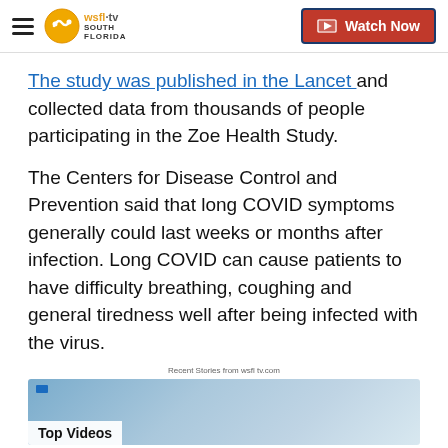WSFL-TV South Florida | Watch Now
The study was published in the Lancet and collected data from thousands of people participating in the Zoe Health Study.
The Centers for Disease Control and Prevention said that long COVID symptoms generally could last weeks or months after infection. Long COVID can cause patients to have difficulty breathing, coughing and general tiredness well after being infected with the virus.
Recent Stories from wsfl tv.com
[Figure (screenshot): Top Videos thumbnail showing a woman in a kitchen setting]